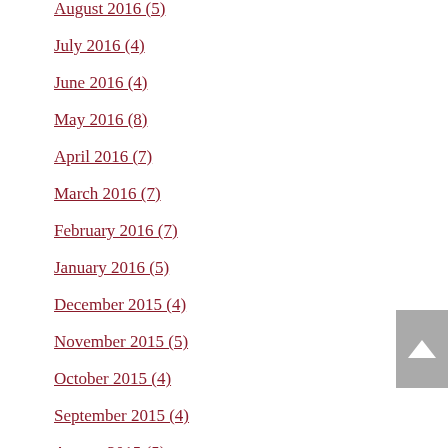August 2016 (5)
July 2016 (4)
June 2016 (4)
May 2016 (8)
April 2016 (7)
March 2016 (7)
February 2016 (7)
January 2016 (5)
December 2015 (4)
November 2015 (5)
October 2015 (4)
September 2015 (4)
August 2015 (5)
July 2015 (4)
June 2015 (4)
May 2015 (5)